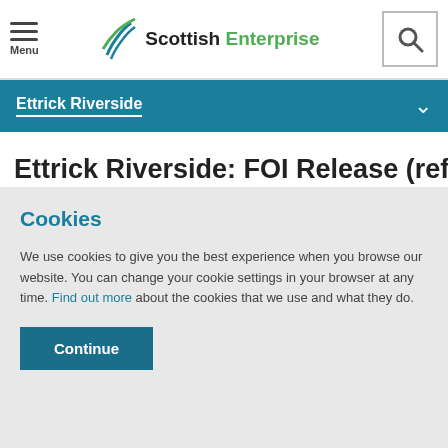Menu | Scottish Enterprise | Search
Ettrick Riverside
Ettrick Riverside: FOI Release (ref
Cookies
We use cookies to give you the best experience when you browse our website. You can change your cookie settings in your browser at any time. Find out more about the cookies that we use and what they do.
Continue